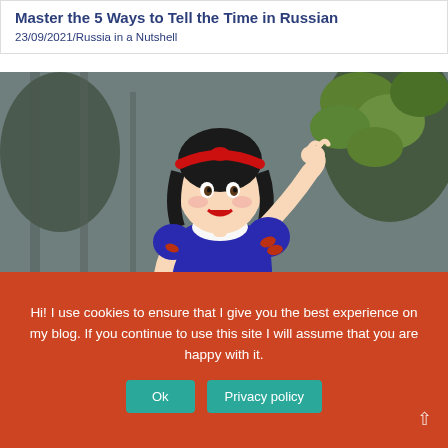Master the 5 Ways to Tell the Time in Russian
23/09/2021/Russia in a Nutshell
[Figure (illustration): Snow White Disney character illustration posing with hand raised, wearing blue and yellow dress with white collar and red headband, in front of a forest background]
VOCABULARY
Hi! I use cookies to ensure that I give you the best experience on my blog. If you continue to use this site I will assume that you are happy with it.
Ok
Privacy policy